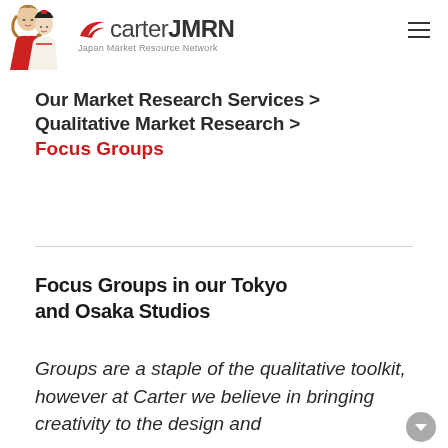carterJMRN Japan Market Resource Network
Our Market Research Services > Qualitative Market Research > Focus Groups
Focus Groups in our Tokyo and Osaka Studios
Groups are a staple of the qualitative toolkit, however at Carter we believe in bringing creativity to the design and